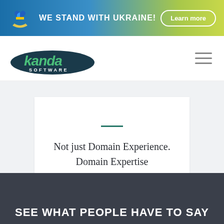[Figure (screenshot): Ukraine solidarity banner with heart icon, text 'WE STAND WITH UKRAINE!' and 'Learn more' button]
[Figure (logo): Kanda Software logo with dark teal ellipse and green italic 'kanda' text]
Not just Domain Experience. Domain Expertise
SEE WHAT PEOPLE HAVE TO SAY